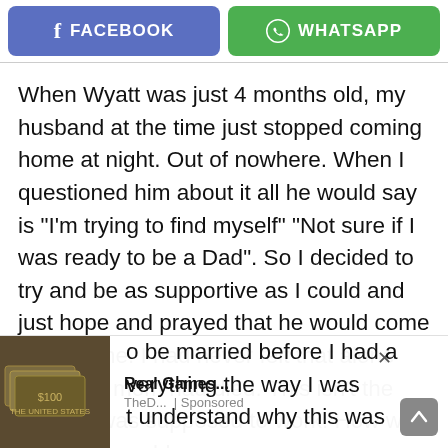[Figure (screenshot): Social share buttons: Facebook (blue) and WhatsApp (green)]
When Wyatt was just 4 months old, my husband at the time just stopped coming home at night. Out of nowhere. When I questioned him about it all he would say is “I’m trying to find myself” “Not sure if I was ready to be a Dad”. So I decided to try and be as supportive as I could and just hope and prayed that he would come back home. I had never felt that alone since my mom had died. This isn’t the way life was supposed to work. How was I all of the sudden a
[Figure (screenshot): Advertisement overlay showing 'Real Games...' from TheD... | Sponsored with image of money/cash]
be married before I had a
verything the way I was
t understand why this was